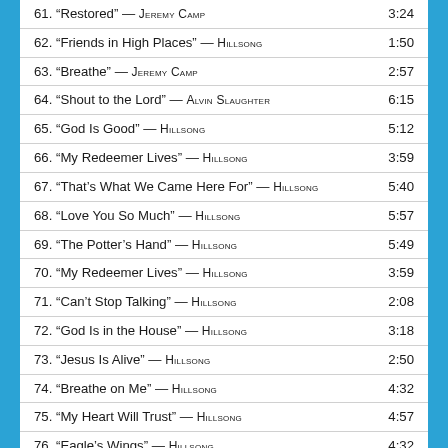| Track | Duration |
| --- | --- |
| 61. “Restored” — JEREMY CAMP | 3:24 |
| 62. “Friends in High Places” — HILLSONG | 1:50 |
| 63. “Breathe” — JEREMY CAMP | 2:57 |
| 64. “Shout to the Lord” — ALVIN SLAUGHTER | 6:15 |
| 65. “God Is Good” — HILLSONG | 5:12 |
| 66. “My Redeemer Lives” — HILLSONG | 3:59 |
| 67. “That's What We Came Here For” — HILLSONG | 5:40 |
| 68. “Love You So Much” — HILLSONG | 5:57 |
| 69. “The Potter’s Hand” — HILLSONG | 5:49 |
| 70. “My Redeemer Lives” — HILLSONG | 3:59 |
| 71. “Can’t Stop Talking” — HILLSONG | 2:08 |
| 72. “God Is in the House” — HILLSONG | 3:18 |
| 73. “Jesus Is Alive” — HILLSONG | 2:50 |
| 74. “Breathe on Me” — HILLSONG | 4:32 |
| 75. “My Heart Will Trust” — HILLSONG | 4:57 |
| 76. “Eagle’s Wings” — HILLSONG | 4:32 |
| 77. “God Is Good” — HILLSONG | 5:12 |
| 78. “The Potter’s Hand” — HILLSONG | 5:49 |
| 79. “Breathe on Me” — HILLSONG | 4:32 |